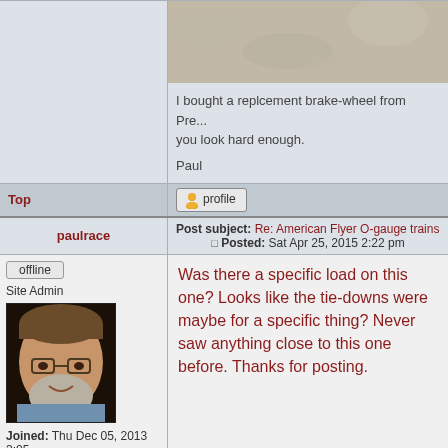[Figure (photo): Stone/gravel texture photo cropped at top of page]
I bought a replcement brake-wheel from Pre... you look hard enough.
Paul
Top
[Figure (other): Profile button with user icon]
| paulrace | Post subject: Re: American Flyer O-gauge trains Posted: Sat Apr 25, 2015 2:22 pm |
| --- | --- |
offline
Site Admin
[Figure (photo): Avatar photo of middle-aged man with glasses and beard]
Joined: Thu Dec 05, 2013 3:05 pm
Was there a specific load on this one? Looks like the tie-downs were maybe for a specific thing? Never saw anything close to this one before. Thanks for posting.